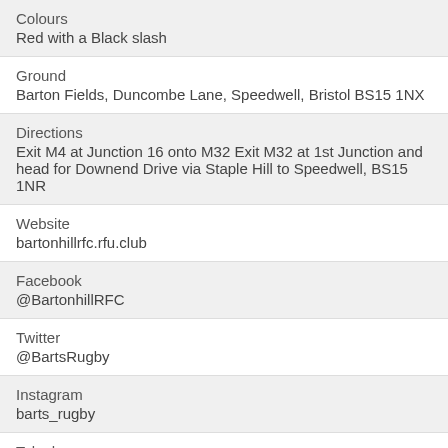| Field | Value |
| --- | --- |
| Colours | Red with a Black slash |
| Ground | Barton Fields, Duncombe Lane, Speedwell, Bristol BS15 1NX |
| Directions | Exit M4 at Junction 16 onto M32 Exit M32 at 1st Junction and head for Downend Drive via Staple Hill to Speedwell, BS15 1NR |
| Website | bartonhillrfc.rfu.club |
| Facebook | @BartonhillRFC |
| Twitter | @BartsRugby |
| Instagram | barts_rugby |
| Telephone | 01179 079995 |